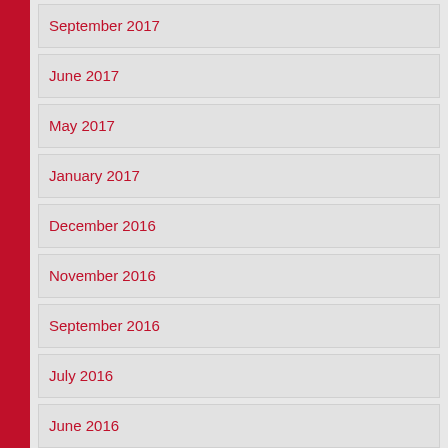September 2017
June 2017
May 2017
January 2017
December 2016
November 2016
September 2016
July 2016
June 2016
May 2016